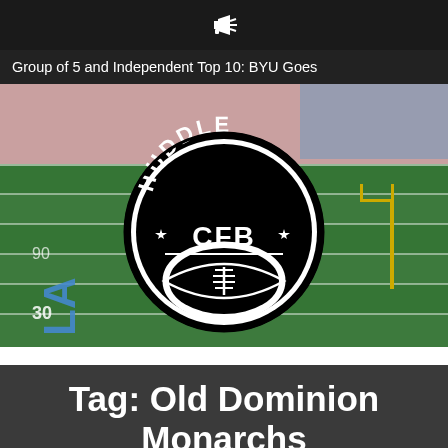🔊
Group of 5 and Independent Top 10: BYU Goes
[Figure (logo): Football field stadium background with Huddle CFB circular logo overlay — black and white logo showing 'HUDDLE' text at top, 'CFB' in center, two stars on sides, and a football shape at bottom]
Tag: Old Dominion Monarchs